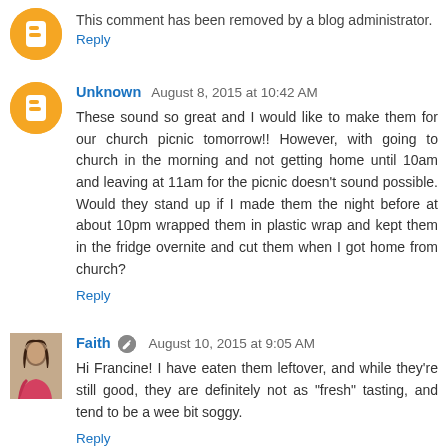This comment has been removed by a blog administrator.
Reply
Unknown   August 8, 2015 at 10:42 AM
These sound so great and I would like to make them for our church picnic tomorrow!! However, with going to church in the morning and not getting home until 10am and leaving at 11am for the picnic doesn't sound possible. Would they stand up if I made them the night before at about 10pm wrapped them in plastic wrap and kept them in the fridge overnite and cut them when I got home from church?
Reply
Faith   August 10, 2015 at 9:05 AM
Hi Francine! I have eaten them leftover, and while they're still good, they are definitely not as "fresh" tasting, and tend to be a wee bit soggy.
Reply